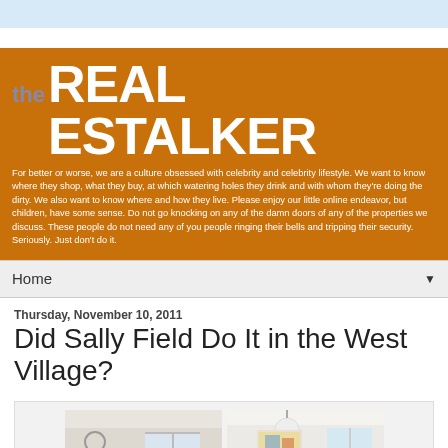the REAL ESTALKER
For better or worse, we are a culture obsessed with celebrity and celebrity lifestyle. We want to know where they shop, what they buy, at which watering holes they drink and with whom they're doing the dirty. We also want to know where and how they live. Please enjoy our little online endeavor, but children, have some sense. Do not go knocking on any of the damn doors of any of the properties we discuss. These people do not need any of you people ringing their bells and tripping their security. Seriously. Just don't do it.
Home
Thursday, November 10, 2011
Did Sally Field Do It in the West Village?
[Figure (photo): Two interior room photos side by side showing a living room and dining room of a residential property]